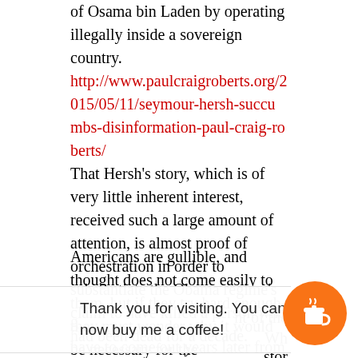of Osama bin Laden by operating illegally inside a sovereign country.
http://www.paulcraigroberts.org/2015/05/11/seymour-hersh-succumbs-disinformation-paul-craig-roberts/
That Hersh’s story, which is of very little inherent interest, received such a large amount of attention, is almost proof of orchestration in order to substantiate the Obama regime’s claim to have killed a person who had been dead for a decade.
Americans are gullible, and thought does not come easily to them, but if they try hard enough they must wonder why it would be necessary for the
nt of the
Wh
stor
have to come out years later from anonymous
[Figure (infographic): Overlay banner with text 'Thank you for visiting. You can now buy me a coffee!' and an orange circular coffee cup button on the right.]